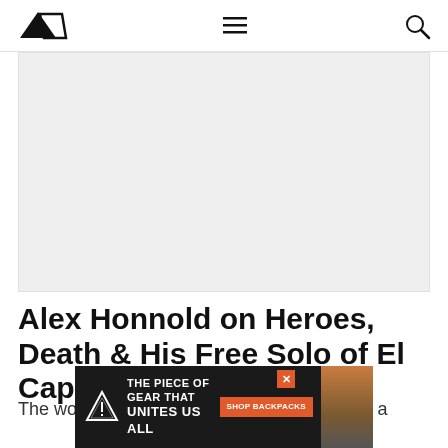[Navigation bar with logo, menu icon, and search icon]
[Figure (photo): Hero image placeholder — light grey rectangle representing a photo associated with the article about Alex Honnold]
Alex Honnold on Heroes, Death & His Free Solo of El Cap
The world's premier free solo climber lives in a
[Figure (infographic): Advertisement banner: 'THE PIECE OF GEAR THAT UNITES US ALL' with shop backpacks CTA button and a photo of a person in outdoor gear. Close button marked X in top right of ad.]